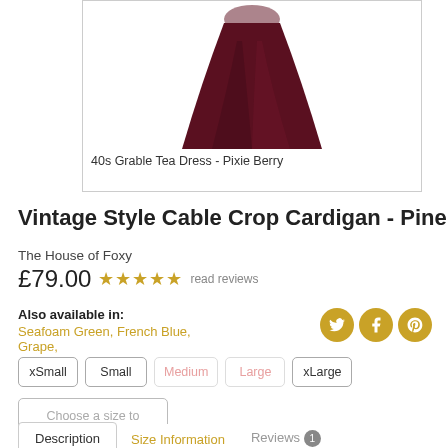[Figure (photo): Partial photo of a dark maroon/berry swing/tea dress, showing the skirt portion with full silhouette against white background]
40s Grable Tea Dress - Pixie Berry
Vintage Style Cable Crop Cardigan - Pine
The House of Foxy
£79.00 ★★★★★ read reviews
Also available in: Seafoam Green, French Blue, Grape,
xSmall  Small  Medium  Large  xLarge
Choose a size to add to cart
Description  Size Information  Reviews 1